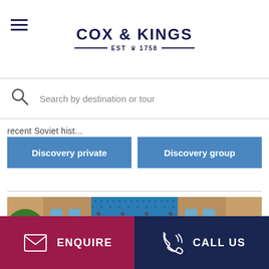[Figure (logo): Cox & Kings logo with EST 1758 tagline]
Search by destination or tour
recent Soviet hist...
Discovery private
Discovery group
[Figure (photo): Islamic architecture with ornate blue tiled arch and brick walls, flanked by green trees]
ENQUIRE
CALL US